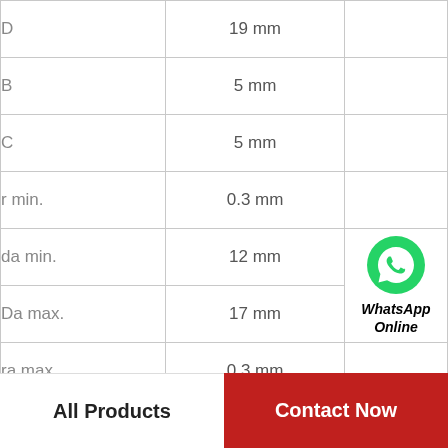| Parameter | Value |
| --- | --- |
| D | 19 mm |
| B | 5 mm |
| C | 5 mm |
| r min. | 0.3 mm |
| da min. | 12 mm |
| Da max. | 17 mm |
| ra max. | 0.3 mm |
| Weight | 0.005 Kg |
| Basic dynamic load |  |
All Products   Contact Now